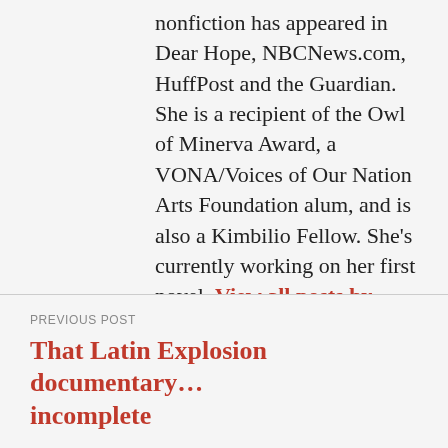nonfiction has appeared in Dear Hope, NBCNews.com, HuffPost and the Guardian. She is a recipient of the Owl of Minerva Award, a VONA/Voices of Our Nation Arts Foundation alum, and is also a Kimbilio Fellow. She's currently working on her first novel. View all posts by Icess Fernandez Rojas
PREVIOUS POST
That Latin Explosion documentary… incomplete